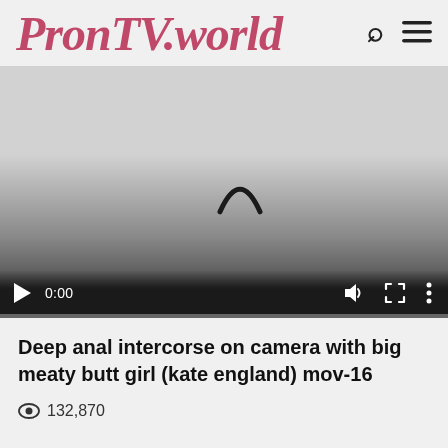PronTV.world
[Figure (screenshot): Video player showing a loading spinner, playback controls including play button, time display 0:00, volume, fullscreen, and more options icons, with a progress bar at the bottom.]
Deep anal intercorse on camera with big meaty butt girl (kate england) mov-16
132,870